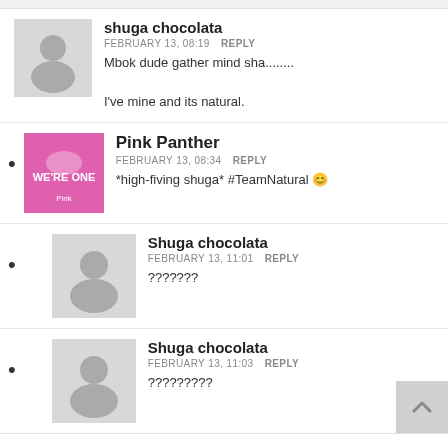shuga chocolata — FEBRUARY 13, 08:19 REPLY — Mbok dude gather mind sha........ I've mine and its natural.
Pink Panther — FEBRUARY 13, 08:34 REPLY — *high-fiving shuga* #TeamNatural
Shuga chocolata — FEBRUARY 13, 11:01 REPLY — ???????
Shuga chocolata — FEBRUARY 13, 11:03 REPLY — ?????????